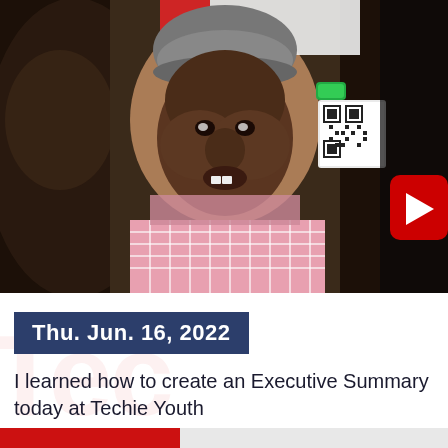[Figure (photo): Screenshot of a video thumbnail showing a young man wearing a grey beanie hat and pink checkered shirt, speaking at what appears to be a Techie Youth event. A QR code is visible in the background along with a YouTube play button icon on the right side. A partial logo reading 'Tec' is visible at the top.]
Thu. Jun. 16, 2022
I learned how to create an Executive Summary today at Techie Youth